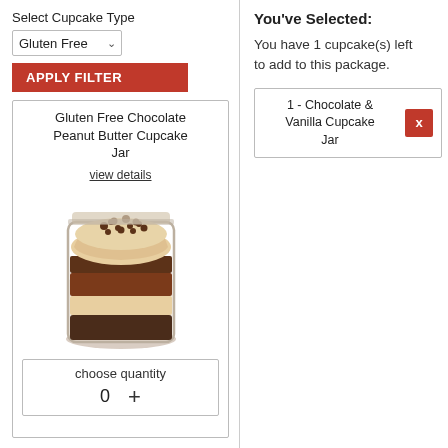Select Cupcake Type
Gluten Free
APPLY FILTER
Gluten Free Chocolate Peanut Butter Cupcake Jar
view details
[Figure (photo): A glass jar filled with layered chocolate cake and peanut butter cream, topped with chocolate pearls]
choose quantity
0  +
You've Selected:
You have 1 cupcake(s) left to add to this package.
1 - Chocolate & Vanilla Cupcake Jar